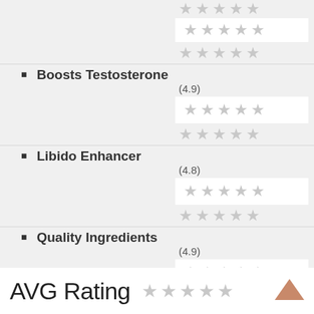Boosts Testosterone
(4.9)
Libido Enhancer
(4.8)
Quality Ingredients
(4.9)
(4.9)
AVG Rating